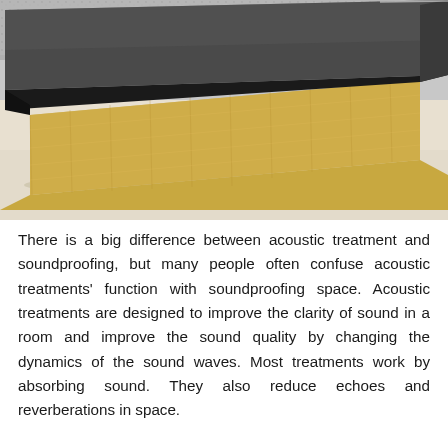[Figure (photo): Close-up photograph of a acoustic/soundproofing panel showing its layered cross-section: a dark grey top surface (dense material) over a thick layer of golden/yellow mineral wool or fibreglass insulation, resting on a light beige surface.]
There is a big difference between acoustic treatment and soundproofing, but many people often confuse acoustic treatments' function with soundproofing space. Acoustic treatments are designed to improve the clarity of sound in a room and improve the sound quality by changing the dynamics of the sound waves. Most treatments work by absorbing sound. They also reduce echoes and reverberations in space.